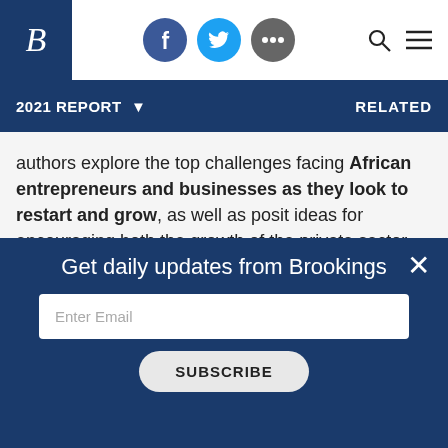Brookings Institution navigation bar with logo, social icons (Facebook, Twitter, more), search and menu icons
2021 REPORT ▼   RELATED
authors explore the top challenges facing African entrepreneurs and businesses as they look to restart and grow, as well as posit ideas for encouraging both the growth of the private sector and its involvement in the post-pandemic recovery.
READ CHAPTER 4 →
Get daily updates from Brookings
Enter Email
SUBSCRIBE